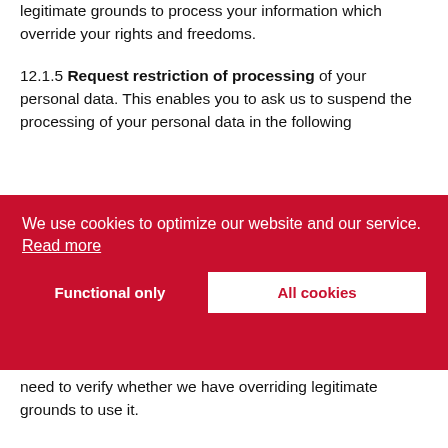legitimate grounds to process your information which override your rights and freedoms.
12.1.5 Request restriction of processing of your personal data. This enables you to ask us to suspend the processing of your personal data in the following
[Figure (screenshot): Cookie consent banner with red background. Text: 'We use cookies to optimize our website and our service. Read more'. Buttons: 'Functional only' and 'All cookies' (white button with red text).]
need to verify whether we have overriding legitimate grounds to use it.
12.1.6 Request the transfer of your personal data to you or to a third party. We will provide to you, or a third party you have chosen, your personal data in a